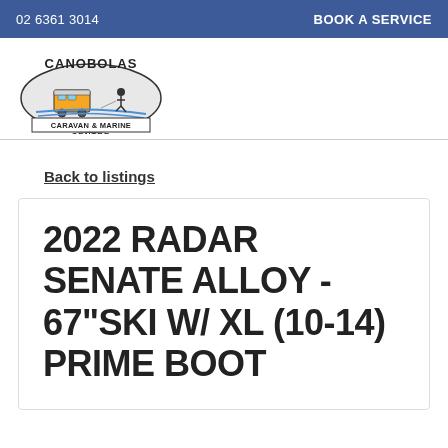02 6361 3014    BOOK A SERVICE
[Figure (logo): Canobolas Caravan & Marine Centre logo — oval shape with caravan and water skier illustration, text 'CANOBOLAS' arched at top, 'CARAVAN & MARINE CENTRE' at bottom]
Back to listings
2022 RADAR SENATE ALLOY - 67"SKI W/ XL (10-14) PRIME BOOT